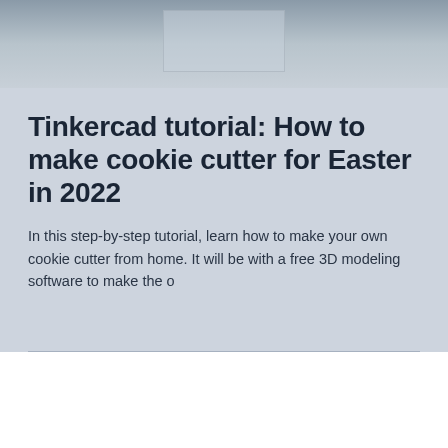[Figure (screenshot): Top portion of a Tinkercad or 3D design software screenshot showing a workspace with geometric shapes on a light background]
Tinkercad tutorial: How to make cookie cutter for Easter in 2022
In this step-by-step tutorial, learn how to make your own cookie cutter from home. It will be with a free 3D modeling software to make the o
[Figure (photo): Photo of electronics components including what appears to be a servo motor, USB cable, and Arduino board on a white desk surface with a dark tablet/frame in the background]